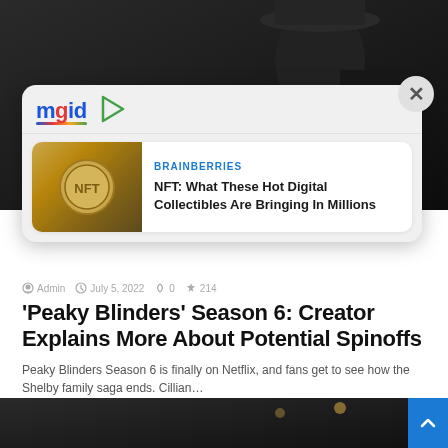[Figure (screenshot): Dark background image showing a person in a flat cap, partially visible - Peaky Blinders show still]
[Figure (screenshot): MGID advertisement card overlay showing article: 'NFT: What These Hot Digital Collectibles Are Bringing In Millions' from Brainberries, with NFT coin thumbnail image. Close (X) button top right.]
Admin  July 5, 2022  0  214
'Peaky Blinders' Season 6: Creator Explains More About Potential Spinoffs
Peaky Blinders Season 6 is finally on Netflix, and fans get to see how the Shelby family saga ends. Cillian…
Read More »
[Figure (photo): Bottom dark image - partial view of scene from Peaky Blinders]